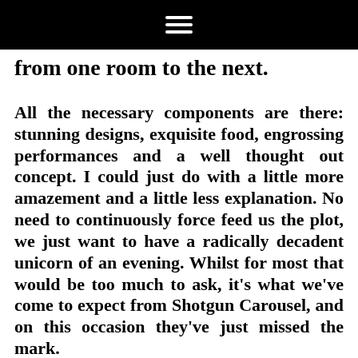☰
from one room to the next.
All the necessary components are there: stunning designs, exquisite food, engrossing performances and a well thought out concept. I could just do with a little more amazement and a little less explanation. No need to continuously force feed us the plot, we just want to have a radically decadent unicorn of an evening. Whilst for most that would be too much to ask, it's what we've come to expect from Shotgun Carousel, and on this occasion they've just missed the mark.